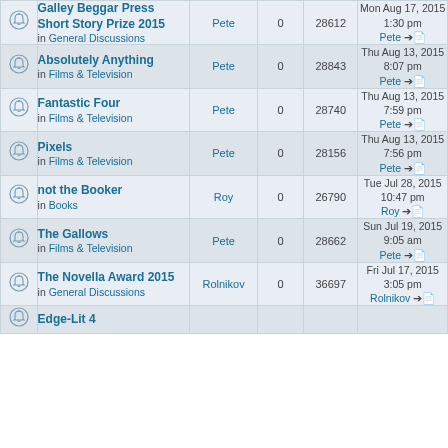|  | Topic | Author | Replies | Views | Last post |
| --- | --- | --- | --- | --- | --- |
| (icon) | Galley Beggar Press Short Story Prize 2015 in General Discussions | Pete | 0 | 28612 | Mon Aug 17, 2015 1:30 pm Pete → |
| (icon) | Absolutely Anything in Films & Television | Pete | 0 | 28843 | Thu Aug 13, 2015 8:07 pm Pete → |
| (icon) | Fantastic Four in Films & Television | Pete | 0 | 28740 | Thu Aug 13, 2015 7:59 pm Pete → |
| (icon) | Pixels in Films & Television | Pete | 0 | 28156 | Thu Aug 13, 2015 7:56 pm Pete → |
| (icon) | not the Booker in Books | Roy | 0 | 26790 | Tue Jul 28, 2015 10:47 pm Roy → |
| (icon) | The Gallows in Films & Television | Pete | 0 | 28662 | Sun Jul 19, 2015 9:05 am Pete → |
| (icon) | The Novella Award 2015 in General Discussions | Rolnikov | 0 | 36697 | Fri Jul 17, 2015 3:05 pm Rolnikov → |
| (icon) | Edge-Lit 4 |  |  |  | Thu Jul ... |